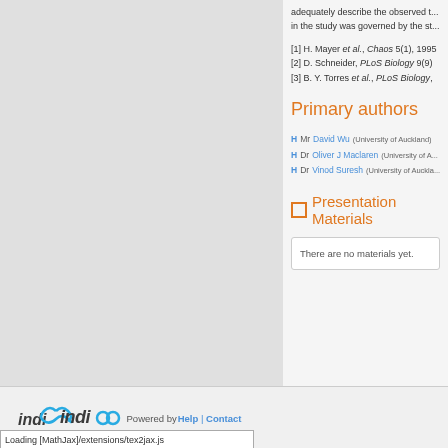adequately describe the observed t... in the study was governed by the st...
[1] H. Mayer et al., Chaos 5(1), 1995
[2] D. Schneider, PLoS Biology 9(9)
[3] B. Y. Torres et al., PLoS Biology,
Primary authors
H  Mr David Wu (University of Auckland)
H  Dr Oliver J Maclaren (University of A...
H  Dr Vinod Suresh (University of Auckla...
Presentation Materials
There are no materials yet.
Powered by Help | Contact
Loading [MathJax]/extensions/tex2jax.js